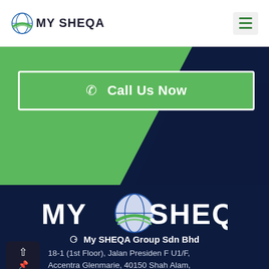[Figure (logo): MY SHEQA logo with globe icon in page header]
[Figure (infographic): Green and dark navy geometric banner with triangular shapes]
Call Us Now
[Figure (logo): Large MY SHEQA logo in white on dark navy background]
My SHEQA Group Sdn Bhd
18-1 (1st Floor), Jalan Presiden F U1/F, Accentra Glenmarie, 40150 Shah Alam,